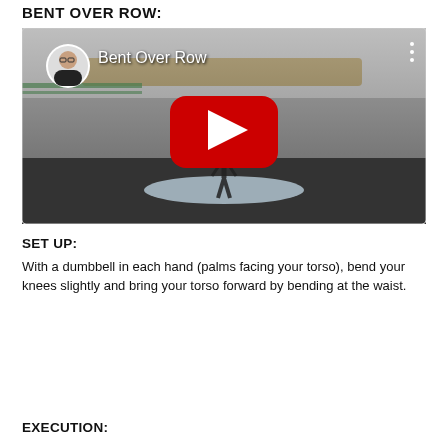BENT OVER ROW:
[Figure (screenshot): YouTube video thumbnail showing a woman bent over performing a Bent Over Row exercise in a gym. The video title reads 'Bent Over Row' with a circular profile picture of a woman with glasses in the top left. A red YouTube play button is centered on the image.]
SET UP:
With a dumbbell in each hand (palms facing your torso), bend your knees slightly and bring your torso forward by bending at the waist.
EXECUTION: